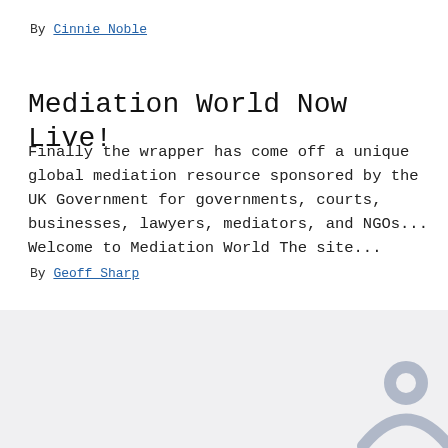By Cinnie Noble
Mediation World Now Live!
Finally the wrapper has come off a unique global mediation resource sponsored by the UK Government for governments, courts, businesses, lawyers, mediators, and NGOs... Welcome to Mediation World The site...
By Geoff Sharp
SEARCH MEDIATORS
Mediators by Practice Area